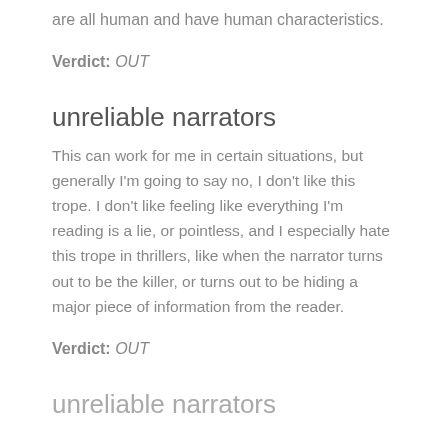are all human and have human characteristics.
Verdict: OUT
unreliable narrators
This can work for me in certain situations, but generally I'm going to say no, I don't like this trope. I don't like feeling like everything I'm reading is a lie, or pointless, and I especially hate this trope in thrillers, like when the narrator turns out to be the killer, or turns out to be hiding a major piece of information from the reader.
Verdict: OUT
unreliable narrators